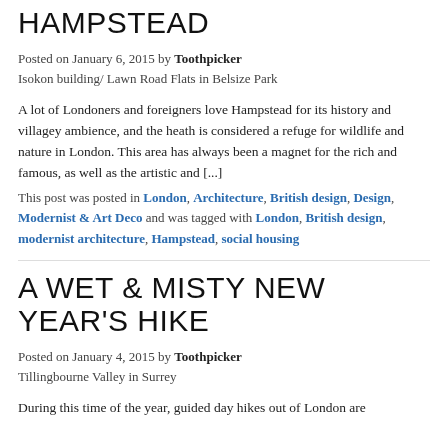HAMPSTEAD
Posted on January 6, 2015 by Toothpicker
Isokon building/ Lawn Road Flats in Belsize Park
A lot of Londoners and foreigners love Hampstead for its history and villagey ambience, and the heath is considered a refuge for wildlife and nature in London. This area has always been a magnet for the rich and famous, as well as the artistic and [...]
This post was posted in London, Architecture, British design, Design, Modernist & Art Deco and was tagged with London, British design, modernist architecture, Hampstead, social housing
A WET & MISTY NEW YEAR'S HIKE
Posted on January 4, 2015 by Toothpicker
Tillingbourne Valley in Surrey
During this time of the year, guided day hikes out of London are